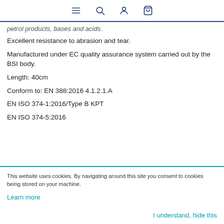[navigation icons: menu, search, account, cart]
petrol products, bases and acids.
Excellent resistance to abrasion and tear.
Manufactured under EC quality assurance system carried out by the BSI body.
Length: 40cm
Conform to: EN 388:2016 4.1.2.1.A
EN ISO 374-1:2016/Type B KPT
EN ISO 374-5:2016
This website uses cookies. By navigating around this site you consent to cookies being stored on your machine.
Learn more
I understand, hide this